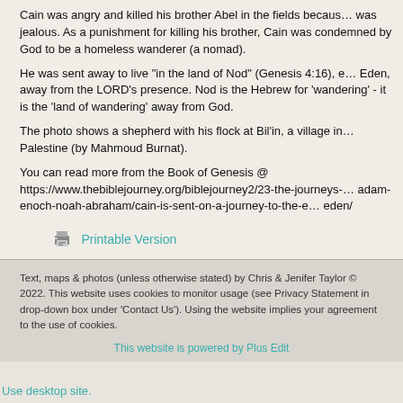Cain was angry and killed his brother Abel in the fields because he was jealous. As a punishment for killing his brother, Cain was condemned by God to be a homeless wanderer (a nomad).
He was sent away to live "in the land of Nod" (Genesis 4:16), east of Eden, away from the LORD's presence. Nod is the Hebrew for 'wandering' - it is the 'land of wandering' away from God.
The photo shows a shepherd with his flock at Bil'in, a village in Palestine (by Mahmoud Burnat).
You can read more from the Book of Genesis @ https://www.thebiblejourney.org/biblejourney2/23-the-journeys-of-adam-enoch-noah-abraham/cain-is-sent-on-a-journey-to-the-east-of-eden/
Printable Version
Text, maps & photos (unless otherwise stated) by Chris & Jenifer Taylor © 2022. This website uses cookies to monitor usage (see Privacy Statement in drop-down box under 'Contact Us'). Using the website implies your agreement to the use of cookies.
This website is powered by Plus Edit
Use desktop site.